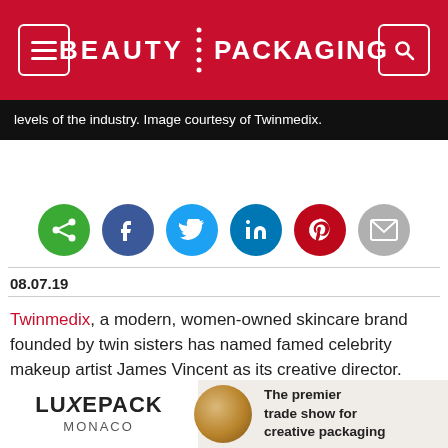BEAUTY PACKAGING
levels of the industry. Image courtesy of Twinmedix.
[Figure (other): Social media share buttons: share (green), Facebook (dark blue), Twitter (light blue), LinkedIn (blue), Pinterest (red), Email (gray)]
08.07.19
Twinmedix, a modern, women-owned skincare brand founded by twin sisters has named famed celebrity makeup artist James Vincent as its creative director. Vincent, who has worked with the biggest names in the world, from Barack Obama to Lady Gaga, will provide
[Figure (infographic): Luxe Pack Monaco advertisement: The premier trade show for creative packaging]